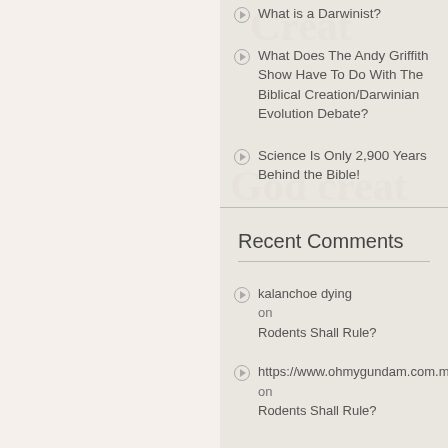What is a Darwinist?
What Does The Andy Griffith Show Have To Do With The Biblical Creation/Darwinian Evolution Debate?
Science Is Only 2,900 Years Behind the Bible!
Recent Comments
kalanchoe dying on Rodents Shall Rule?
https://www.ohmygundam.com.my on Rodents Shall Rule?